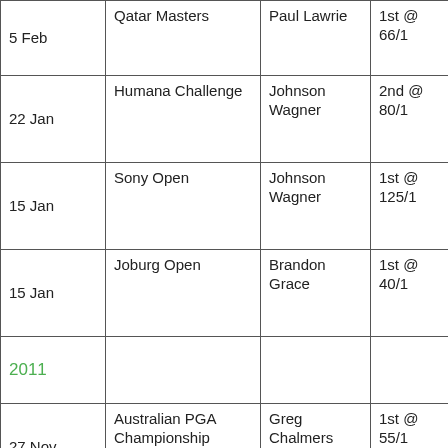| Date | Tournament | Winner | Result |
| --- | --- | --- | --- |
| 5 Feb | Qatar Masters | Paul Lawrie | 1st @ 66/1 |
| 22 Jan | Humana Challenge | Johnson Wagner | 2nd @ 80/1 |
| 15 Jan | Sony Open | Johnson Wagner | 1st @ 125/1 |
| 15 Jan | Joburg Open | Brandon Grace | 1st @ 40/1 |
| 2011 |  |  |  |
| 27 Nov | Australian PGA Championship | Greg Chalmers | 1st @ 55/1 |
| 13 Nov | Australian Open | Greg Chalmers | 1st @ 55/1 |
| 24 Jul | Nordea Masters | Alex Noren | 1st @ 28/1 |
|  | St Jude Classic | Camilo | 3rd @ |